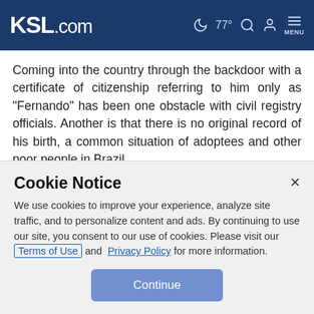KSL.com — 77° [search] [account] MENU
Coming into the country through the backdoor with a certificate of citizenship referring to him only as "Fernando" has been one obstacle with civil registry officials. Another is that there is no original record of his birth, a common situation of adoptees and other poor people in Brazil.
Vanderlai and others have been trying to help Schreiner navigate the bureaucracy. His best hope, if he can ever get
Cookie Notice
We use cookies to improve your experience, analyze site traffic, and to personalize content and ads. By continuing to use our site, you consent to our use of cookies. Please visit our Terms of Use and Privacy Policy for more information.
Continue